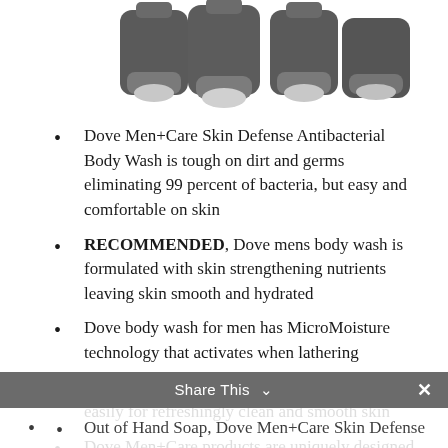[Figure (photo): Product photo showing multiple Dove Men+Care body wash bottles viewed from above, gray caps visible]
Dove Men+Care Skin Defense Antibacterial Body Wash is tough on dirt and germs eliminating 99 percent of bacteria, but easy and comfortable on skin
RECOMMENDED, Dove mens body wash is formulated with skin strengthening nutrients leaving skin smooth and hydrated
Dove body wash for men has MicroMoisture technology that activates when lathering
Ultra light body wash for men formula rinses off easily for refreshingly clean and smooth skin
Dove Men+Care products are uniquely designed for men's skin care
Share This ∨  ×
Out of Hand Soap, Dove Men+Care Skin Defense